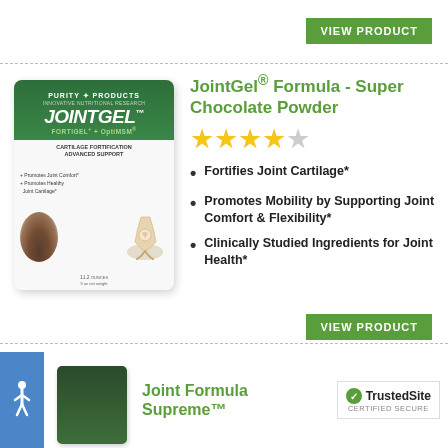VIEW PRODUCT
[Figure (photo): JointGel Formula Super Chocolate Powder product container - white/grey canister with green label showing JOINTGEL FORTIGEL + OptiMSM branding]
JointGel® Formula - Super Chocolate Powder
[Figure (other): 4 out of 5 star rating shown with 4 filled yellow stars and 1 empty grey star]
Fortifies Joint Cartilage*
Promotes Mobility by Supporting Joint Comfort & Flexibility*
Clinically Studied Ingredients for Joint Health*
VIEW PRODUCT
[Figure (photo): Bottom portion of a dark green supplement container]
Joint Formula Supreme™
[Figure (logo): TrustedSite CERTIFIED SECURE badge with green checkmark]